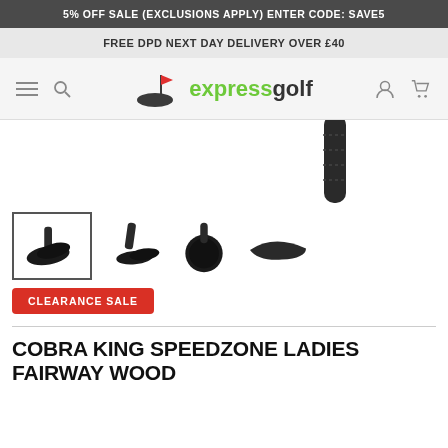5% OFF SALE (EXCLUSIONS APPLY) ENTER CODE: SAVE5
FREE DPD NEXT DAY DELIVERY OVER £40
[Figure (logo): Express Golf logo with golf flag icon, 'express' in green and 'golf' in dark text]
[Figure (photo): Golf fairway wood club head - shaft top visible, partial view]
[Figure (photo): Four thumbnail views of Cobra King SpeedZone Ladies Fairway Wood from different angles]
CLEARANCE SALE
COBRA KING SPEEDZONE LADIES FAIRWAY WOOD